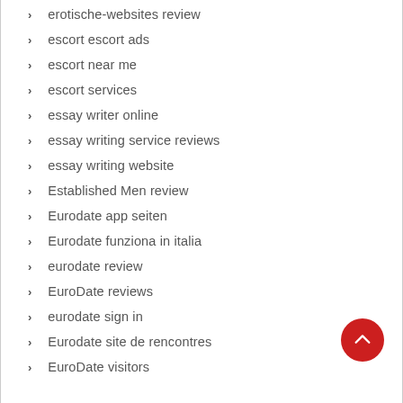erotische-websites review
escort escort ads
escort near me
escort services
essay writer online
essay writing service reviews
essay writing website
Established Men review
Eurodate app seiten
Eurodate funziona in italia
eurodate review
EuroDate reviews
eurodate sign in
Eurodate site de rencontres
EuroDate visitors